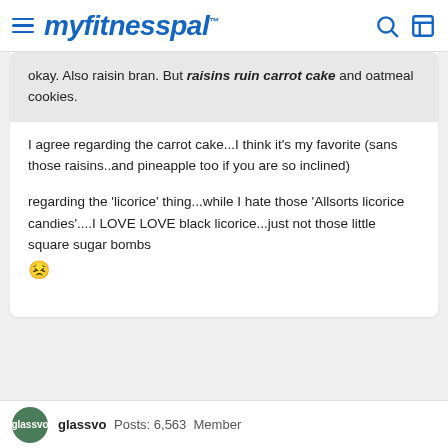myfitnesspal
okay. Also raisin bran. But raisins ruin carrot cake and oatmeal cookies.
I agree regarding the carrot cake...I think it's my favorite (sans those raisins..and pineapple too if you are so inclined)
regarding the 'licorice' thing...while I hate those 'Allsorts licorice candies'....I LOVE LOVE black licorice...just not those little square sugar bombs 😣
glassyo  Posts: 6,563  Member